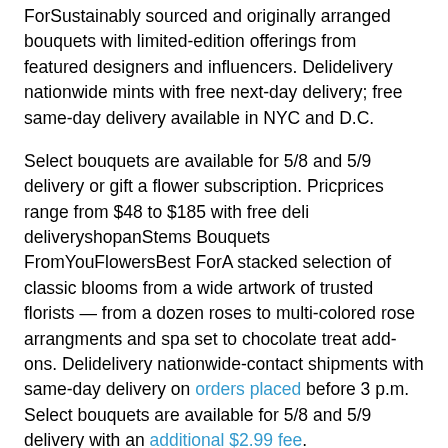ForSustainably sourced and originally arranged bouquets with limited-edition offerings from featured designers and influencers. Delidelivery nationwide mints with free next-day delivery; free same-day delivery available in NYC and D.C.
Select bouquets are available for 5/8 and 5/9 delivery or gift a flower subscription. Pricprices range from $48 to $185 with free deli deliveryshopanStems Bouquets FromYouFlowersBest ForA stacked selection of classic blooms from a wide artwork of trusted florists — from a dozen roses to multi-colored rose arrangments and spa set to chocolate treat add-ons. Delidelivery nationwide-contact shipments with same-day delivery on orders placed before 3 p.m. Select bouquets are available for 5/8 and 5/9 delivery with an additional $2.99 fee.
Pricprices range from $39.99 to $139.99 with an additional $2.99 service fee for same-day deliveries. Shop FromYouFlowers FlowersFrom You Flowers The Sunrise Bouquet, $, available at From You Flowers East Olivia Road 10% off first order with exclusive...